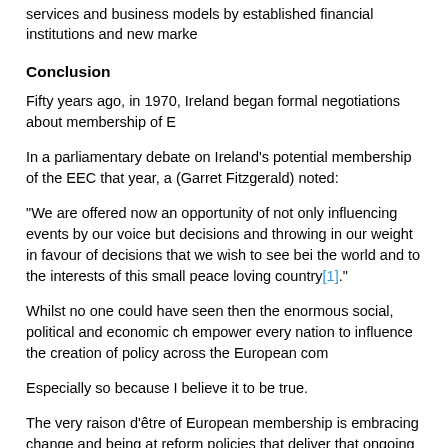services and business models by established financial institutions and new market
Conclusion
Fifty years ago, in 1970, Ireland began formal negotiations about membership of E
In a parliamentary debate on Ireland's potential membership of the EEC that year, a (Garret Fitzgerald) noted:
“We are offered now an opportunity of not only influencing events by our voice but decisions and throwing in our weight in favour of decisions that we wish to see bei the world and to the interests of this small peace loving country[1].”
Whilst no one could have seen then the enormous social, political and economic ch empower every nation to influence the creation of policy across the European com
Especially so because I believe it to be true.
The very raison d’être of European membership is embracing change and being at reform policies that deliver that ongoing development.